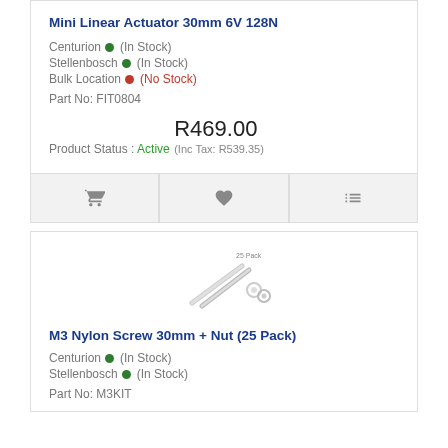Mini Linear Actuator 30mm 6V 128N
Centurion • (In Stock)
Stellenbosch • (In Stock)
Bulk Location • (No Stock)
Part No: FIT0804
Product Status : Active
R469.00
(Inc Tax: R539.35)
[Figure (other): Action bar with cart, heart, and compare icons]
[Figure (photo): M3 Nylon Screw 30mm + Nut (25 Pack) product image showing two screws and nuts with '25 Pack' label]
M3 Nylon Screw 30mm + Nut (25 Pack)
Centurion • (In Stock)
Stellenbosch • (In Stock)
Part No: M3KIT